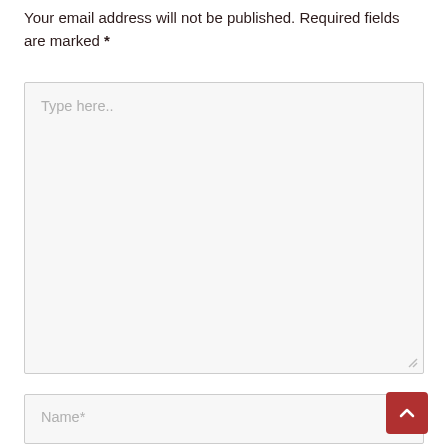Your email address will not be published. Required fields are marked *
[Figure (screenshot): A large textarea input box with placeholder text 'Type here..' and a resize handle at the bottom right corner.]
[Figure (screenshot): A text input field with placeholder text 'Name*'.]
[Figure (screenshot): A dark red scroll-to-top button with an upward chevron arrow icon, positioned at the bottom right.]